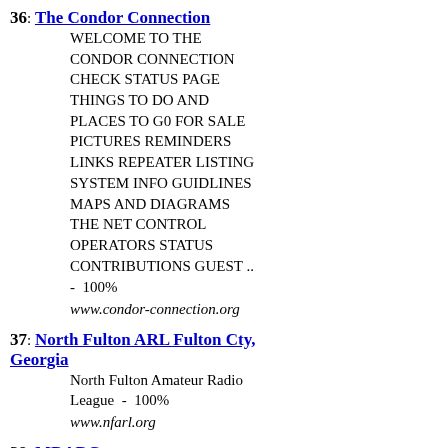36: The Condor Connection
WELCOME TO THE CONDOR CONNECTION CHECK STATUS PAGE THINGS TO DO AND PLACES TO G0 FOR SALE PICTURES REMINDERS LINKS REPEATER LISTING SYSTEM INFO GUIDLINES MAPS AND DIAGRAMS THE NET CONTROL OPERATORS STATUS CONTRIBUTIONS GUEST ..
- 100%
www.condor-connection.org
37: North Fulton ARL Fulton Cty, Georgia
North Fulton Amateur Radio League  -  100%
www.nfarl.org
38: MDARC
The Mount Diablo Amateur Radio HAM Club.  -  100%